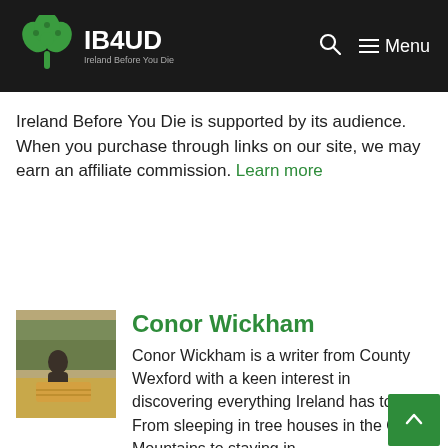IB4UD — Ireland Before You Die
Ireland Before You Die is supported by its audience. When you purchase through links on our site, we may earn an affiliate commission. Learn more
[Figure (photo): Photo of Conor Wickham sitting outdoors on hay bales with trees in background]
Conor Wickham
Conor Wickham is a writer from County Wexford with a keen interest in discovering everything Ireland has to of… From sleeping in tree houses in the Ox Mountains to staying in